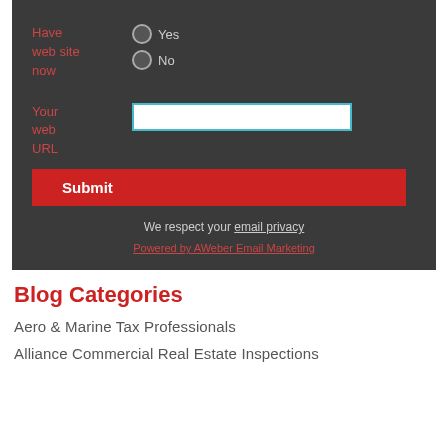Have web site now
Yes / No (radio buttons)
Your web URL
Submit
We respect your email privacy
Powered by AWeber Email Marketing
Blog Categories
Aero & Marine Tax Professionals
Alliance Commercial Real Estate Inspections